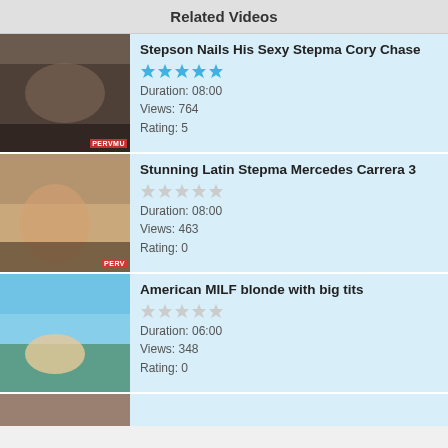Related Videos
Stepson Nails His Sexy Stepma Cory Chase
Duration: 08:00
Views: 764
Rating: 5
Stunning Latin Stepma Mercedes Carrera 3
Duration: 08:00
Views: 463
Rating: 0
American MILF blonde with big tits
Duration: 06:00
Views: 348
Rating: 0